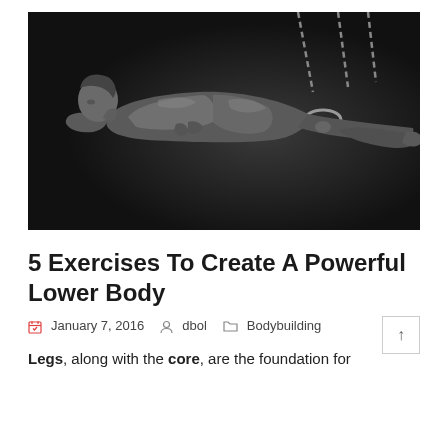[Figure (photo): Black and white photograph of a muscular shirtless man performing an iron cross or lever move on gymnastic rings suspended by chains, against a dark background.]
5 Exercises To Create A Powerful Lower Body
January 7, 2016  dbol  Bodybuilding
Legs, along with the core, are the foundation for